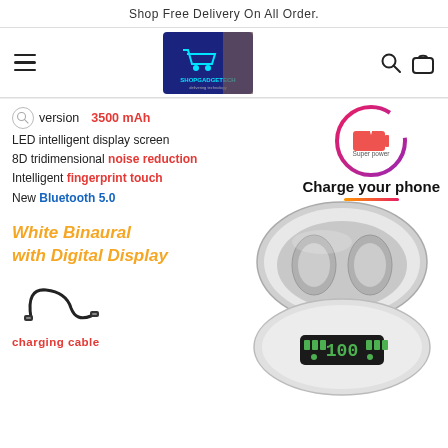Shop Free Delivery On All Order.
[Figure (logo): ShopGadgeTech shopping cart logo on blue background with store storefront photo]
version 3500 mAh
LED intelligent display screen
8D tridimensional noise reduction
Intelligent fingerprint touch
New Bluetooth 5.0
White Binaural
with Digital Display
[Figure (infographic): Super power badge circle with charging icon - Charge your phone]
[Figure (photo): White TWS earbuds charging case open showing digital battery display showing 100, with earbuds inside]
charging cable
[Figure (photo): USB charging cable accessory]